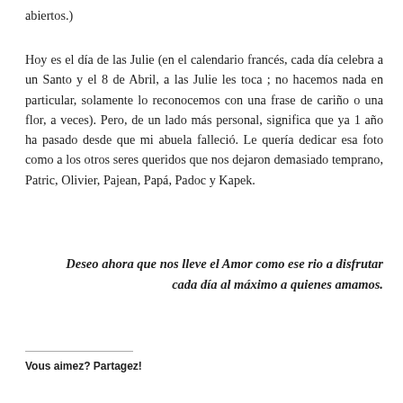abiertos.)
Hoy es el día de las Julie (en el calendario francés, cada día celebra a un Santo y el 8 de Abril, a las Julie les toca ; no hacemos nada en particular, solamente lo reconocemos con una frase de cariño o una flor, a veces). Pero, de un lado más personal, significa que ya 1 año ha pasado desde que mi abuela falleció. Le quería dedicar esa foto como a los otros seres queridos que nos dejaron demasiado temprano, Patric, Olivier, Pajean, Papá, Padoc y Kapek.
Deseo ahora que nos lleve el Amor como ese rio a disfrutar cada día al máximo a quienes amamos.
Vous aimez? Partagez!